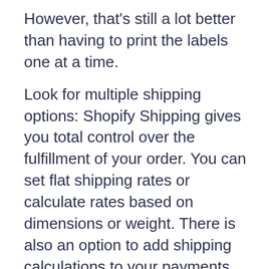However, that's still a lot better than having to print the labels one at a time.
Look for multiple shipping options: Shopify Shipping gives you total control over the fulfillment of your order. You can set flat shipping rates or calculate rates based on dimensions or weight. There is also an option to add shipping calculations to your payments.
You need to provide great service: Offering customers incredible service is one of the best ways to keep making a profit. With Shopify shipping, you get access to real-time tracking information and order updates. This means it's much easier to track important information for your customers.
International support: You can print customs